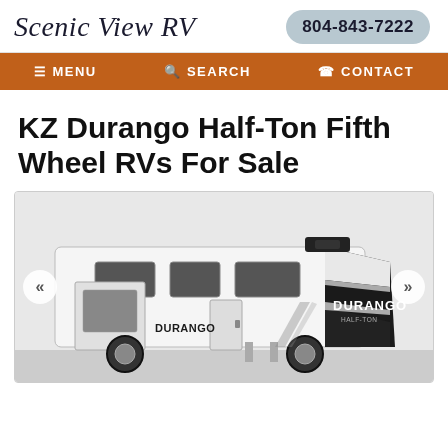Scenic View RV | 804-843-7222
≡ MENU  🔍 SEARCH  📞 CONTACT
KZ Durango Half-Ton Fifth Wheel RVs For Sale
[Figure (photo): KZ Durango Half-Ton Fifth Wheel RV exterior, white and black two-tone design, shown from the side and front quarter view, with the Durango logo visible on the front cap. Navigation arrows (« and ») are shown on the left and right sides of the image.]